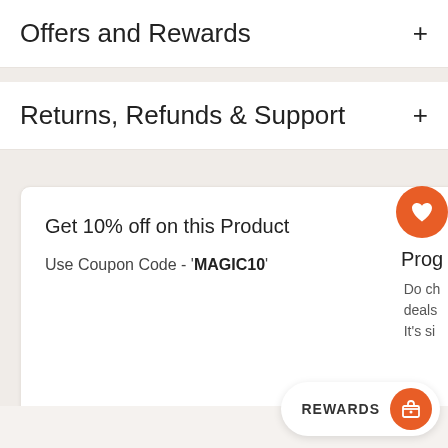Offers and Rewards
Returns, Refunds & Support
Get 10% off on this Product
Use Coupon Code - 'MAGIC10'
Prog
Do ch
deals
It's si
REWARDS